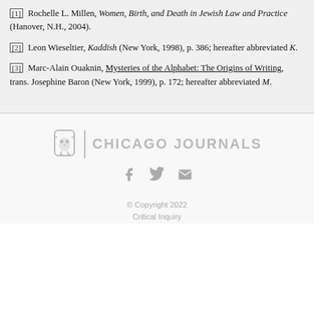[1] Rochelle L. Millen, Women, Birth, and Death in Jewish Law and Practice (Hanover, N.H., 2004).
[2] Leon Wieseltier, Kaddish (New York, 1998), p. 386; hereafter abbreviated K.
[3] Marc-Alain Ouaknin, Mysteries of the Alphabet: The Origins of Writing, trans. Josephine Baron (New York, 1999), p. 172; hereafter abbreviated M.
[Figure (logo): Chicago Journals logo with owl emblem and text]
© Copyright 2022 Critical Inquiry